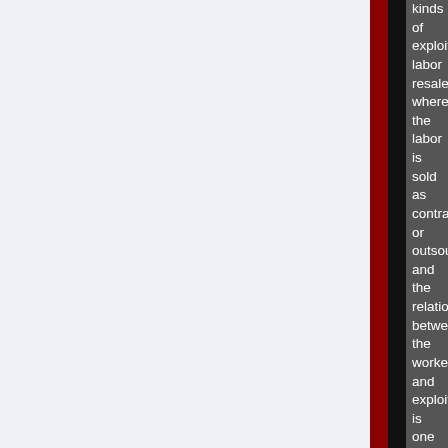kinds of exploitative labor resale where the labor is sold as contracted or outsourced and the relation between the worker and exploiter/reseller is one